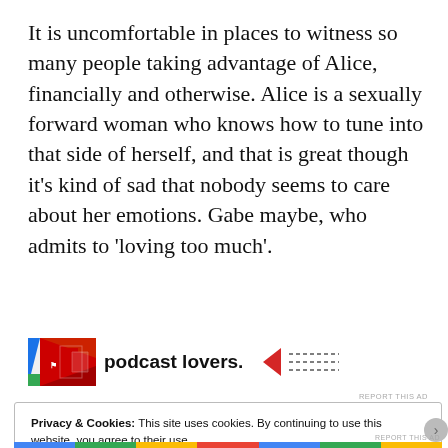It is uncomfortable in places to witness so many people taking advantage of Alice, financially and otherwise. Alice is a sexually forward woman who knows how to tune into that side of herself, and that is great though it's kind of sad that nobody seems to care about her emotions. Gabe maybe, who admits to 'loving too much'.
[Figure (other): Advertisement banner with a podcast logo (red and green design) and text 'podcast lovers.' alongside another logo with dashed lines]
REPORT THIS AD
Privacy & Cookies: This site uses cookies. By continuing to use this website, you agree to their use.
To find out more, including how to control cookies, see here:
Cookie Policy
Close and accept